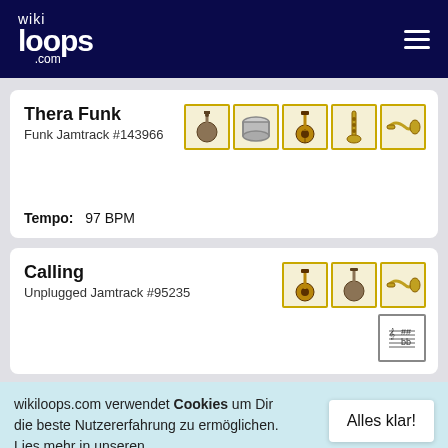wikiloops.com
Thera Funk
Funk Jamtrack #143966
Tempo: 97 BPM
Calling
Unplugged Jamtrack #95235
wikiloops.com verwendet Cookies um Dir die beste Nutzererfahrung zu ermöglichen. Lies mehr in unseren Datenschutzbestimmungen .